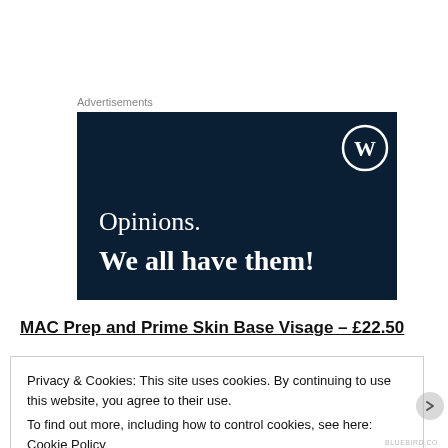Advertisements
[Figure (illustration): WordPress advertisement banner with dark navy background showing 'Opinions. We all have them!' text and WordPress circular logo icon in top right corner.]
MAC Prep and Prime Skin Base Visage – £22.50
Privacy & Cookies: This site uses cookies. By continuing to use this website, you agree to their use.
To find out more, including how to control cookies, see here: Cookie Policy
Close and accept